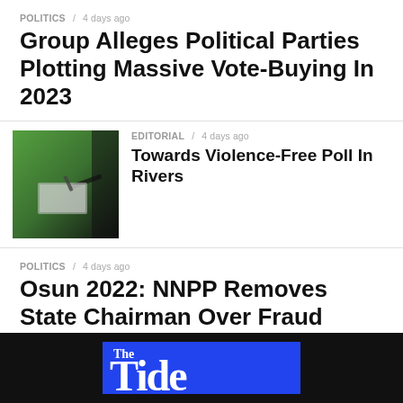POLITICS / 4 days ago
Group Alleges Political Parties Plotting Massive Vote-Buying In 2023
[Figure (photo): Hand writing or marking a document, with green background]
EDITORIAL / 4 days ago
Towards Violence-Free Poll In Rivers
POLITICS / 4 days ago
Osun 2022: NNPP Removes State Chairman Over Fraud Allegation
[Figure (photo): Crowd at a political rally wearing blue and white, flags visible]
POLITICS / 4 days ago
Jubilation As GDI Takes PVC Collection Sensitisation Rally To Oyigbo
[Figure (logo): The Tide newspaper logo — white text on blue background]